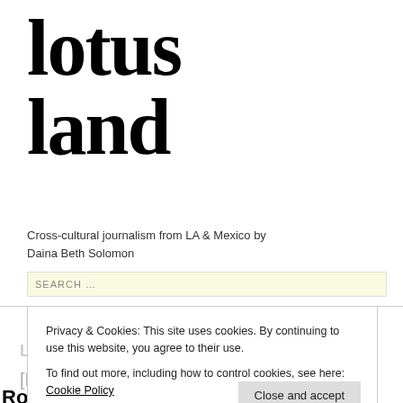lotus land
Cross-cultural journalism from LA & Mexico by Daina Beth Solomon
SEARCH …
Privacy & Cookies: This site uses cookies. By continuing to use this website, you agree to their use.
To find out more, including how to control cookies, see here: Cookie Policy
Close and accept
[LA Times] Autry Center welcomes Roy Rogers' first guitar to collection